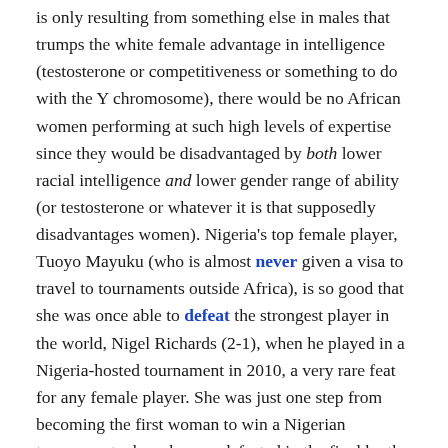is only resulting from something else in males that trumps the white female advantage in intelligence (testosterone or competitiveness or something to do with the Y chromosome), there would be no African women performing at such high levels of expertise since they would be disadvantaged by both lower racial intelligence and lower gender range of ability (or testosterone or whatever it is that supposedly disadvantages women). Nigeria's top female player, Tuoyo Mayuku (who is almost never given a visa to travel to tournaments outside Africa), is so good that she was once able to defeat the strongest player in the world, Nigel Richards (2-1), when he played in a Nigeria-hosted tournament in 2010, a very rare feat for any female player. She was just one step from becoming the first woman to win a Nigerian tournament when she was defeated in the final by the Nigerian former world champion, Wellington Jighere.
This obviously doesn't mean that Mayuku is as strong as